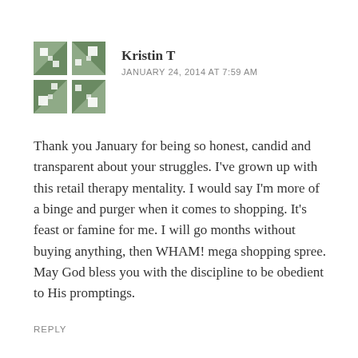[Figure (illustration): Green geometric/quilt-pattern avatar icon for user Kristin T]
Kristin T
JANUARY 24, 2014 AT 7:59 AM
Thank you January for being so honest, candid and transparent about your struggles. I've grown up with this retail therapy mentality. I would say I'm more of a binge and purger when it comes to shopping. It's feast or famine for me. I will go months without buying anything, then WHAM! mega shopping spree. May God bless you with the discipline to be obedient to His promptings.
REPLY